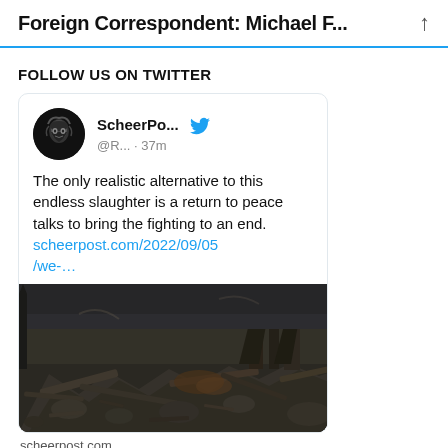Foreign Correspondent: Michael F...
FOLLOW US ON TWITTER
[Figure (screenshot): Tweet from ScheerPo... (@R...) posted 37 minutes ago reading: 'The only realistic alternative to this endless slaughter is a return to peace talks to bring the fighting to an end. scheerpost.com/2022/09/05/we-...' with an embedded image of rubble/destruction from a war zone.]
scheerpost.com